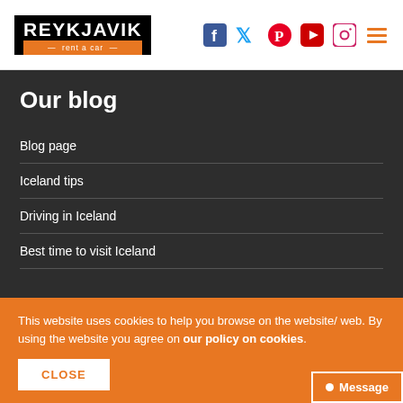REYKJAVIK rent a car — social media icons: Facebook, Twitter, Pinterest, YouTube, Instagram, Menu
Our blog
Blog page
Iceland tips
Driving in Iceland
Best time to visit Iceland
This website uses cookies to help you browse on the website/ web. By using the website you agree on our policy on cookies.
CLOSE
Message